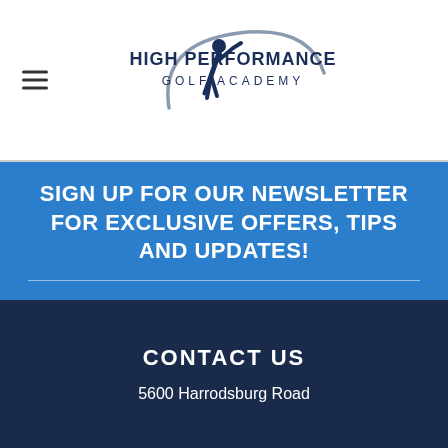[Figure (logo): High Performance Golf Academy logo with golfer silhouette and swoosh arc]
SIGN UP FOR OUR NEWSLETTER FOR EXCLUSIVE OFFERS, TIPS AND UPDATES!
Your Email (required)
SIGN UP
CONTACT US
5600 Harrodsburg Road